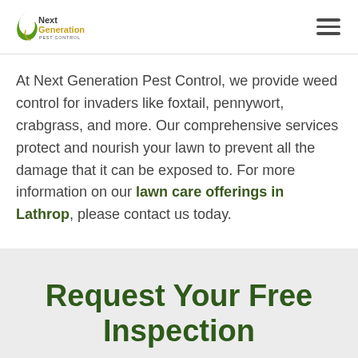Next Generation Pest Control
At Next Generation Pest Control, we provide weed control for invaders like foxtail, pennywort, crabgrass, and more. Our comprehensive services protect and nourish your lawn to prevent all the damage that it can be exposed to. For more information on our lawn care offerings in Lathrop, please contact us today.
Request Your Free Inspection